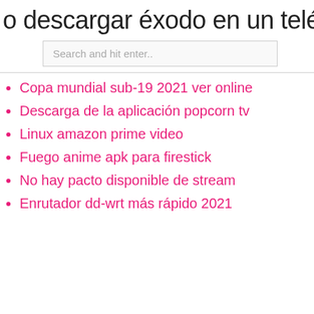o descargar éxodo en un teléfono an
Search and hit enter..
Copa mundial sub-19 2021 ver online
Descarga de la aplicación popcorn tv
Linux amazon prime video
Fuego anime apk para firestick
No hay pacto disponible de stream
Enrutador dd-wrt más rápido 2021